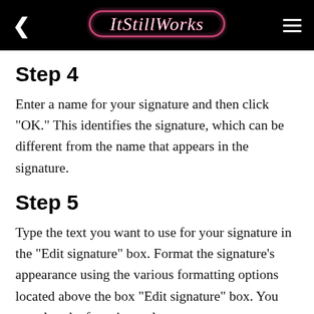ItStillWorks
Step 4
Enter a name for your signature and then click "OK." This identifies the signature, which can be different from the name that appears in the signature.
Step 5
Type the text you want to use for your signature in the "Edit signature" box. Format the signature's appearance using the various formatting options located above the box "Edit signature" box. You can alter the font size, color,